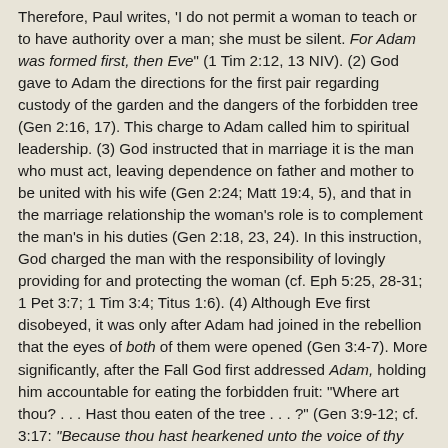Therefore, Paul writes, 'I do not permit a woman to teach or to have authority over a man; she must be silent. For Adam was formed first, then Eve" (1 Tim 2:12, 13 NIV). (2) God gave to Adam the directions for the first pair regarding custody of the garden and the dangers of the forbidden tree (Gen 2:16, 17). This charge to Adam called him to spiritual leadership. (3) God instructed that in marriage it is the man who must act, leaving dependence on father and mother to be united with his wife (Gen 2:24; Matt 19:4, 5), and that in the marriage relationship the woman's role is to complement the man's in his duties (Gen 2:18, 23, 24). In this instruction, God charged the man with the responsibility of lovingly providing for and protecting the woman (cf. Eph 5:25, 28-31; 1 Pet 3:7; 1 Tim 3:4; Titus 1:6). (4) Although Eve first disobeyed, it was only after Adam had joined in the rebellion that the eyes of both of them were opened (Gen 3:4-7). More significantly, after the Fall God first addressed Adam, holding him accountable for eating the forbidden fruit: "Where art thou? . . . Hast thou eaten of the tree . . . ?" (Gen 3:9-12; cf. 3:17: "Because thou hast hearkened unto the voice of thy wife, and hast eaten of the tree. . ."). It appears inexplicable for God, who in His omniscience already knew what had happened, to act in this way if Adam had not been given a leadership role.